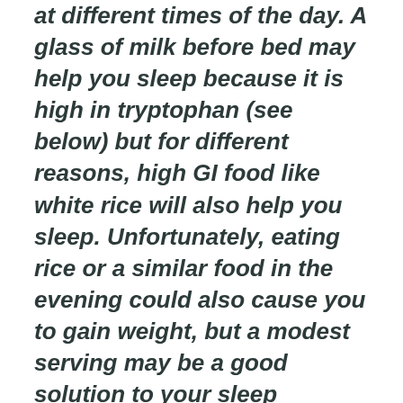at different times of the day. A glass of milk before bed may help you sleep because it is high in tryptophan (see below) but for different reasons, high GI food like white rice will also help you sleep. Unfortunately, eating rice or a similar food in the evening could also cause you to gain weight, but a modest serving may be a good solution to your sleep problem.
Loss of energy or increased fatigue: – This could be caused by an illness and should be investigated but fatigue can often result from a period of reduced activity. Establishing a regular exercise routine is essential to good health and you should try